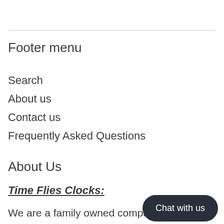Footer menu
Search
About us
Contact us
Frequently Asked Questions
About Us
Time Flies Clocks:
We are a family owned company in rural Ohio. We have proudly been in business since